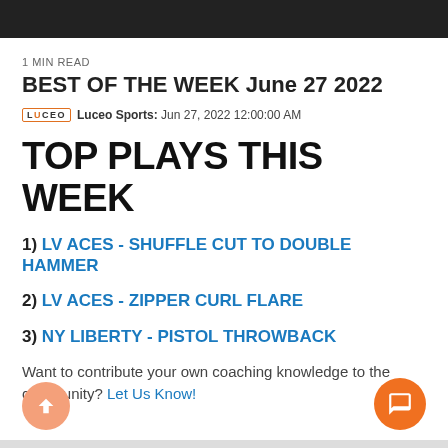1 MIN READ
BEST OF THE WEEK June 27 2022
Luceo Sports: Jun 27, 2022 12:00:00 AM
TOP PLAYS THIS WEEK
1) LV ACES - SHUFFLE CUT TO DOUBLE HAMMER
2) LV ACES - ZIPPER CURL FLARE
3) NY LIBERTY - PISTOL THROWBACK
Want to contribute your own coaching knowledge to the community? Let Us Know!